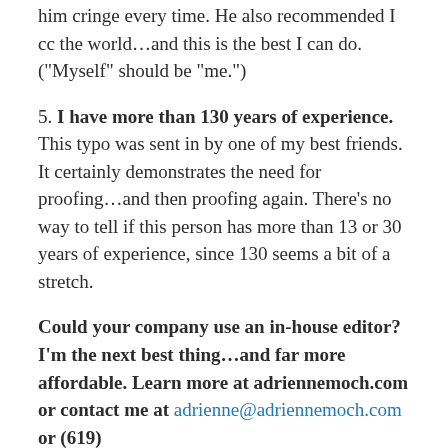him cringe every time. He also recommended I cc the world...and this is the best I can do. (“Myself” should be “me.”)
5. I have more than 130 years of experience. This typo was sent in by one of my best friends. It certainly demonstrates the need for proofing...and then proofing again. There’s no way to tell if this person has more than 13 or 30 years of experience, since 130 seems a bit of a stretch.
Could your company use an in-house editor? I’m the next best thing...and far more affordable. Learn more at adriennemoch.com or contact me at adrienne@adriennemoch.com or (619)